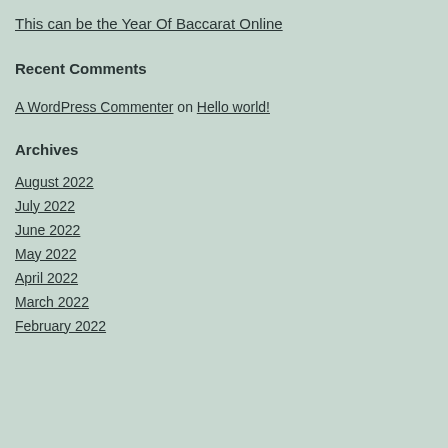This can be the Year Of Baccarat Online
Recent Comments
A WordPress Commenter on Hello world!
Archives
August 2022
July 2022
June 2022
May 2022
April 2022
March 2022
February 2022